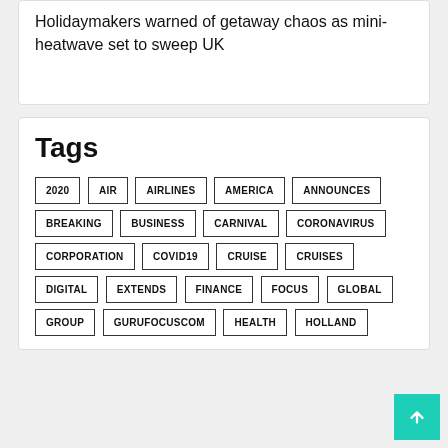Holidaymakers warned of getaway chaos as mini-heatwave set to sweep UK
Tags
2020
AIR
AIRLINES
AMERICA
ANNOUNCES
BREAKING
BUSINESS
CARNIVAL
CORONAVIRUS
CORPORATION
COVID19
CRUISE
CRUISES
DIGITAL
EXTENDS
FINANCE
FOCUS
GLOBAL
GROUP
GURUFOCUSCOM
HEALTH
HOLLAND